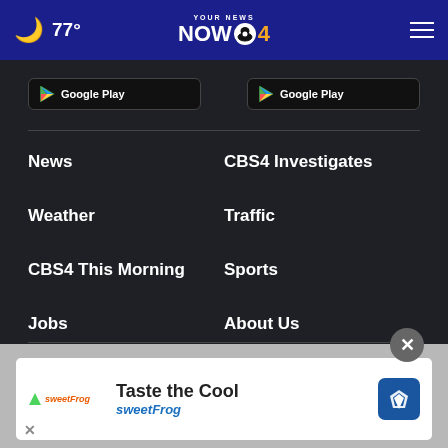77° YOUR NEWS NOW CBS4
[Figure (screenshot): Two Google Play store download buttons side by side]
News
CBS4 Investigates
Weather
Traffic
CBS4 This Morning
Sports
Jobs
About Us
Online Public File
EEO Report
Public File
[Figure (infographic): sweetFrog ad banner: Taste the Cool sweetFrog with logo and map pin icon]